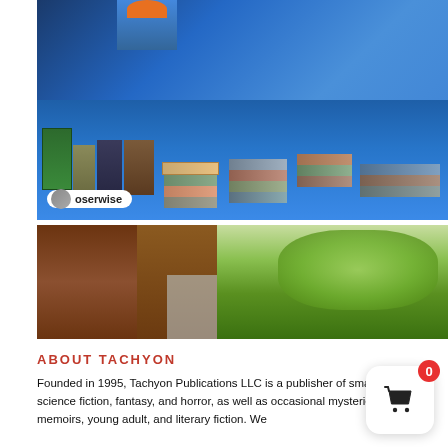[Figure (photo): Photo of a book display table covered with a blue tablecloth, stacked with many books. A person in a blue shirt with an orange hat is visible behind the table. An Instagram-style badge reading 'oserwise' is overlaid at the bottom left of the image.]
[Figure (photo): Photo looking up at tree trunks and canopy with green leaves against a bright sky. Left side shows brown bark texture, right side shows green foliage and light sky.]
ABOUT TACHYON
Founded in 1995, Tachyon Publications LLC is a publisher of smart science fiction, fantasy, and horror, as well as occasional mysteries, memoirs, young adult, and literary fiction. We...